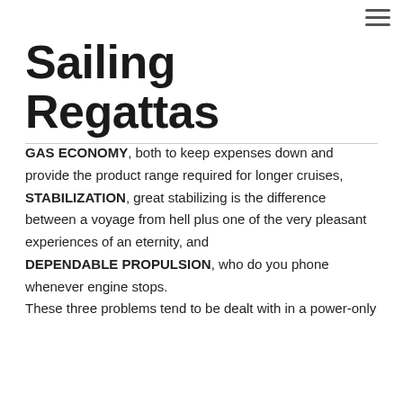≡
Sailing Regattas
GAS ECONOMY, both to keep expenses down and provide the product range required for longer cruises,
STABILIZATION, great stabilizing is the difference between a voyage from hell plus one of the very pleasant experiences of an eternity, and
DEPENDABLE PROPULSION, who do you phone whenever engine stops.
These three problems tend to be dealt with in a power-only